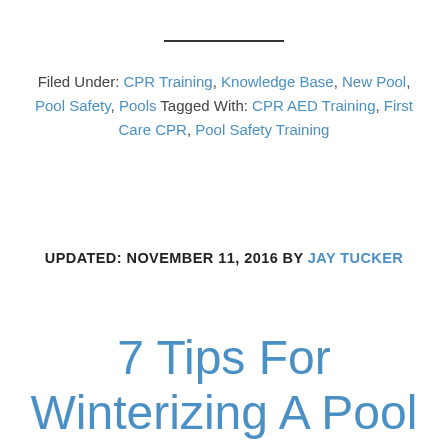Filed Under: CPR Training, Knowledge Base, New Pool, Pool Safety, Pools Tagged With: CPR AED Training, First Care CPR, Pool Safety Training
UPDATED: NOVEMBER 11, 2016 BY JAY TUCKER
7 Tips For Winterizing A Pool